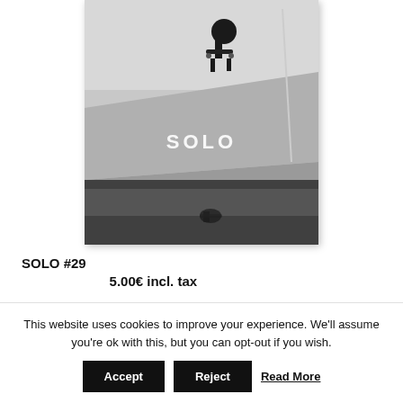[Figure (photo): Black and white photo of a skateboarder doing a trick in the air over a ledge with water reflection below. The word SOLO is overlaid in white text on the image.]
SOLO #29
5.00€ incl. tax
This website uses cookies to improve your experience. We'll assume you're ok with this, but you can opt-out if you wish.
Accept  Reject  Read More